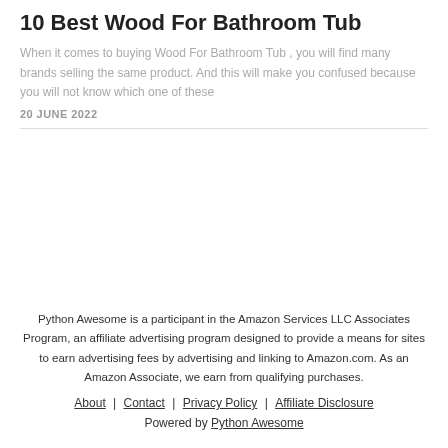10 Best Wood For Bathroom Tub
When it comes to buying Wood For Bathroom Tub , you will find many brands selling the same product. And this will make you confused because you will not know which one of these
20 JUNE 2022
Python Awesome is a participant in the Amazon Services LLC Associates Program, an affiliate advertising program designed to provide a means for sites to earn advertising fees by advertising and linking to Amazon.com. As an Amazon Associate, we earn from qualifying purchases.
About | Contact | Privacy Policy | Affiliate Disclosure
Powered by Python Awesome